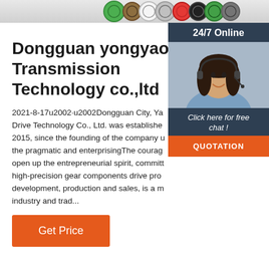[Figure (photo): Top strip showing colorful gear/button components in a row — green, orange/brown, white, silver, red, black, green, grey tones]
Dongguan yongyao Transmission Technology co.,ltd
2021-8-17u2002·u2002Dongguan City, Ya Drive Technology Co., Ltd. was established 2015, since the founding of the company u the pragmatic and enterprisingThe courag open up the entrepreneurial spirit, committ high-precision gear components drive pro development, production and sales, is a m industry and trad...
[Figure (photo): Chat widget showing a woman with headset smiling, with '24/7 Online' header, 'Click here for free chat!' text, and an orange QUOTATION button]
Get Price